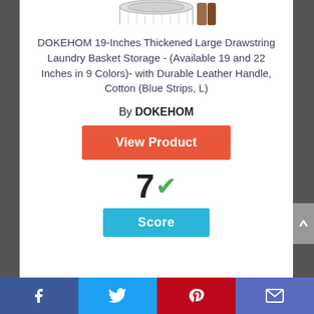[Figure (photo): Partial product image of a laundry basket with drawstring, cut off at the top of the page]
DOKEHOM 19-Inches Thickened Large Drawstring Laundry Basket Storage - (Available 19 and 22 Inches in 9 Colors)- with Durable Leather Handle, Cotton (Blue Strips, L)
By DOKEHOM
[Figure (other): Orange 'View Product' button]
[Figure (infographic): Score display showing '7' with a green checkmark and a blue 'Score' badge below]
Facebook | Twitter | Pinterest | Email social share bar